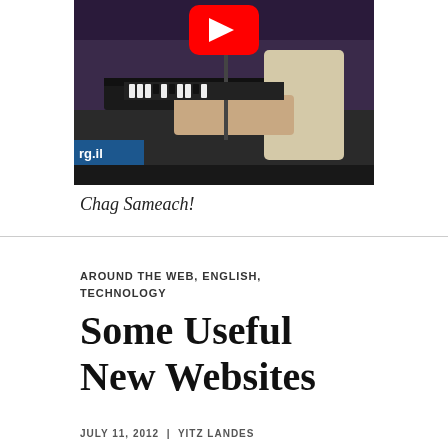[Figure (screenshot): Video thumbnail showing a person playing keyboard/piano on stage with a YouTube play button overlay. A watermark reading 'rg.il' is visible in the lower left corner.]
Chag Sameach!
AROUND THE WEB, ENGLISH, TECHNOLOGY
Some Useful New Websites
JULY 11, 2012 | YITZ LANDES